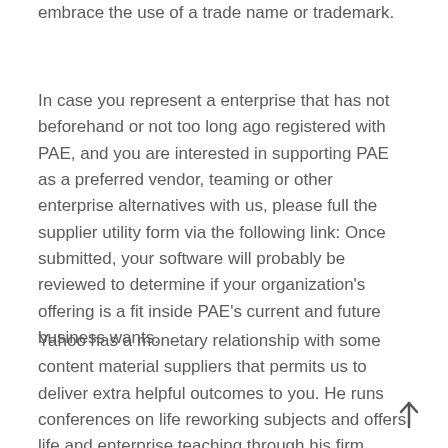embrace the use of a trade name or trademark.
In case you represent a enterprise that has not beforehand or not too long ago registered with PAE, and you are interested in supporting PAE as a preferred vendor, teaming or other enterprise alternatives with us, please full the supplier utility form via the following link: Once submitted, your software will probably be reviewed to determine if your organization's offering is a fit inside PAE's current and future business wants.
Yahoo has a monetary relationship with some content material suppliers that permits us to deliver extra helpful outcomes to you. He runs conferences on life reworking subjects and offers life and enterprise teaching through his firm. Montrose Travel Corporate Companies offers business travel options for distinct teams of